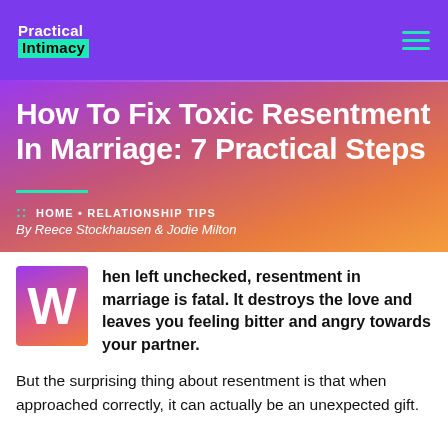Practical Intimacy
How To Fix Toxic Resentment In Marriage: 7 Practical Steps
:: HOME • RELATIONSHIP TIPS
By Reece Stockhausen & Jodie Milton
When left unchecked, resentment in marriage is fatal. It destroys the love and leaves you feeling bitter and angry towards your partner.
But the surprising thing about resentment is that when approached correctly, it can actually be an unexpected gift.